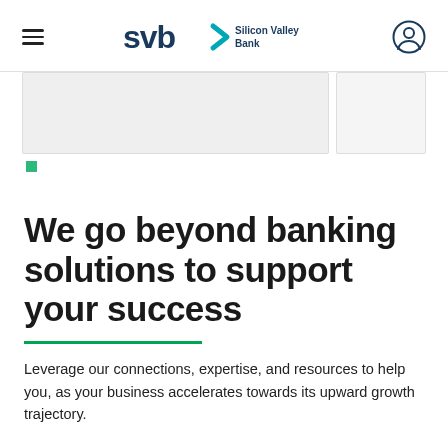SVB Silicon Valley Bank
[Figure (other): Card/image placeholder strip with two grey rectangles]
[Figure (other): Small green square bullet/dot]
We go beyond banking solutions to support your success
Leverage our connections, expertise, and resources to help you, as your business accelerates towards its upward growth trajectory.